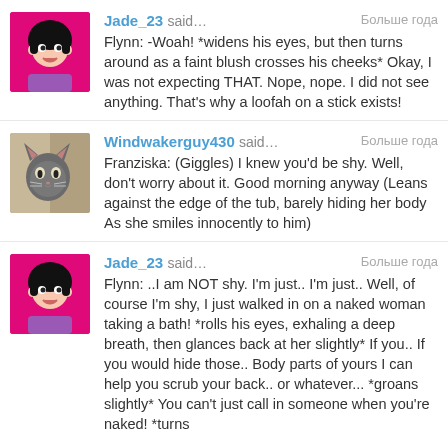Jade_23 said… Больше года
Flynn: -Woah! *widens his eyes, but then turns around as a faint blush crosses his cheeks* Okay, I was not expecting THAT. Nope, nope. I did not see anything. That's why a loofah on a stick exists!
Windwakerguy430 said… Больше года
Franziska: (Giggles) I knew you'd be shy. Well, don't worry about it. Good morning anyway (Leans against the edge of the tub, barely hiding her body As she smiles innocently to him)
Jade_23 said… Больше года
Flynn: ..I am NOT shy. I'm just.. I'm just.. Well, of course I'm shy, I just walked in on a naked woman taking a bath! *rolls his eyes, exhaling a deep breath, then glances back at her slightly* If you.. If you would hide those.. Body parts of yours I can help you scrub your back.. or whatever... *groans slightly* You can't just call in someone when you're naked! *turns